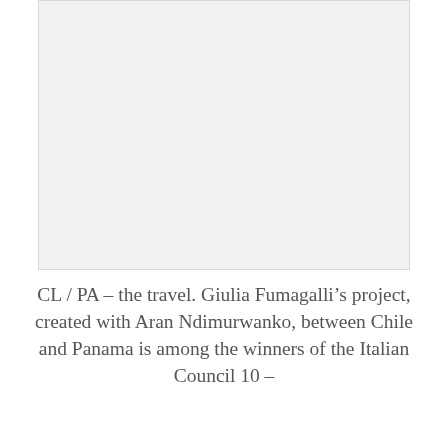[Figure (photo): A large white/light grey rectangular image placeholder occupying the upper portion of the page.]
CL / PA – the travel. Giulia Fumagalli's project, created with Aran Ndimurwanko, between Chile and Panama is among the winners of the Italian Council 10 –